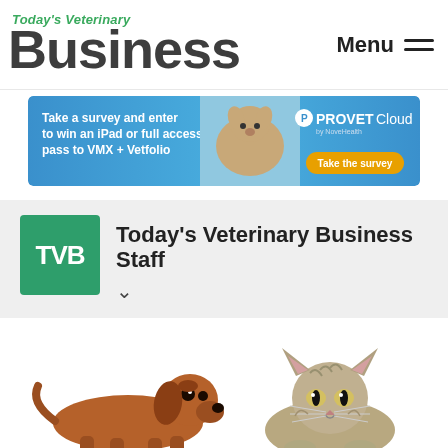Today's Veterinary Business
[Figure (infographic): Advertisement banner for PROVET Cloud: 'Take a survey and enter to win an iPad or full access pass to VMX + Vetfolio' with a dog photo and Take the survey button]
[Figure (logo): TVB green square logo icon with white TVB letters]
Today's Veterinary Business Staff
[Figure (photo): Photo of a brown dachshund dog and a fluffy tabby cat side by side on a white background]